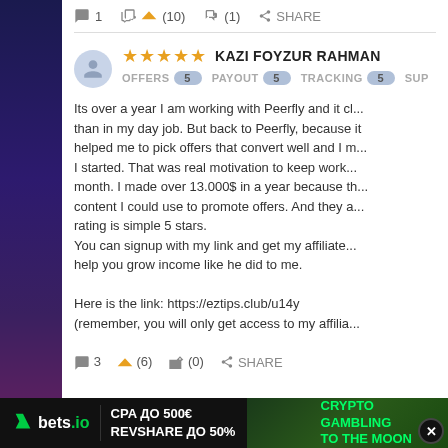1  (10)  (1)  SHARE
★★★★★  KAZI FOYZUR RAHMAN
OFFERS 5  PAYOUT 5  TRACKING 5  SUP
Its over a year I am working with Peerfly and it ch... than in my day job. But back to Peerfly, because it helped me to pick offers that convert well and I m... I started. That was real motivation to keep work... month. I made over 13.000$ in a year because th... content I could use to promote offers. And they a... rating is simple 5 stars.
You can signup with my link and get my affiliate... help you grow income like he did to me.

Here is the link: https://eztips.club/u14y
(remember, you will only get access to my affilia...
3  (6)  (0)  SHARE
[Figure (screenshot): bets.io ad banner: CPA ДО 500€ REVSHARE ДО 50% | CRYPTO GAMBLING TO THE MOON]